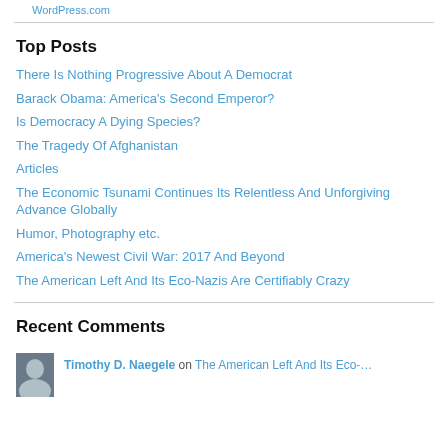WordPress.com
Top Posts
There Is Nothing Progressive About A Democrat
Barack Obama: America's Second Emperor?
Is Democracy A Dying Species?
The Tragedy Of Afghanistan
Articles
The Economic Tsunami Continues Its Relentless And Unforgiving Advance Globally
Humor, Photography etc.
America's Newest Civil War: 2017 And Beyond
The American Left And Its Eco-Nazis Are Certifiably Crazy
Recent Comments
Timothy D. Naegele on The American Left And Its Eco-…